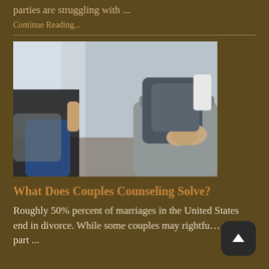parties are struggling with ...
Continue Reading...
[Figure (photo): Two people sitting in chairs, one with hands clasped, appearing to be in a counseling session]
What Does Couples Counseling Solve?
Roughly 50% percent of marriages in the United States end in divorce. While some couples may rightfu… ed to part ...